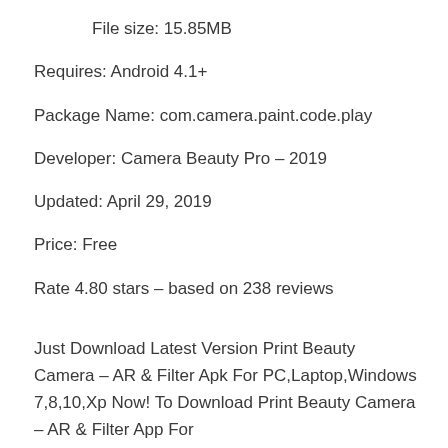File size: 15.85MB
Requires: Android 4.1+
Package Name: com.camera.paint.code.play
Developer: Camera Beauty Pro – 2019
Updated: April 29, 2019
Price: Free
Rate 4.80 stars – based on 238 reviews
Just Download Latest Version Print Beauty Camera – AR & Filter Apk For PC,Laptop,Windows 7,8,10,Xp Now! To Download Print Beauty Camera – AR & Filter App For